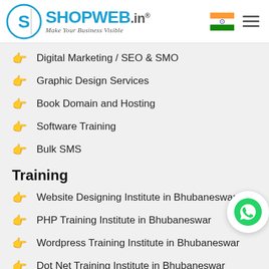[Figure (logo): ShopWeb.in logo with tagline Make Your Business Visible, Indian flag, and hamburger menu icon]
Digital Marketing / SEO & SMO
Graphic Design Services
Book Domain and Hosting
Software Training
Bulk SMS
Training
Website Designing Institute in Bhubaneswar
PHP Training Institute in Bhubaneswar
Wordpress Training Institute in Bhubaneswar
Dot Net Training Institute in Bhubaneswar
Digital Marketing Training Bhubaneswar
Photoshop Training Institute Bhubaneswar